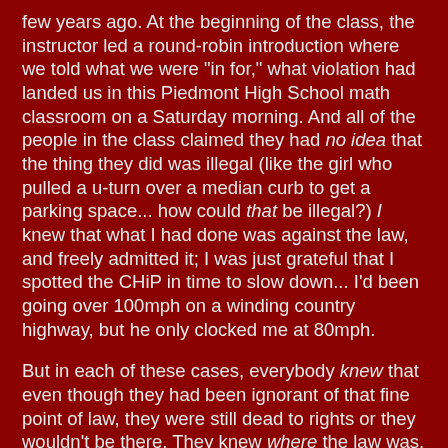few years ago. At the beginning of the class, the instructor led a round-robin introduction where we told what we were "in for," what violation had landed us in this Piedmont High School math classroom on a Saturday morning. And all of the people in the class claimed they had no idea that the thing they did was illegal (like the girl who pulled a u-turn over a median curb to get a parking space... how could that be illegal?) I knew that what I had done was against the law, and freely admitted it; I was just grateful that I spotted the CHiP in time to slow down... I'd been going over 100mph on a winding country highway, but he only clocked me at 80mph.
But in each of these cases, everybody knew that even though they had been ignorant of that fine point of law, they were still dead to rights or they wouldn't be there. They knew where the law was, and what it said, and they did not dispute the law nor seek to be vindicated by overturning the law... they only protested that ignorance=innocence (which, as all of us who were paying attention in Social Studies know, is not the case).